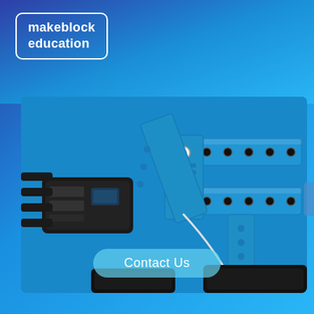[Figure (logo): Makeblock Education logo in white text inside a rounded rectangle border on blue gradient background]
[Figure (photo): Close-up photo of a blue Makeblock robotic arm with metal frame pieces, holes, bolts and a black gripper/claw on the left side, on a blue background]
Contact Us